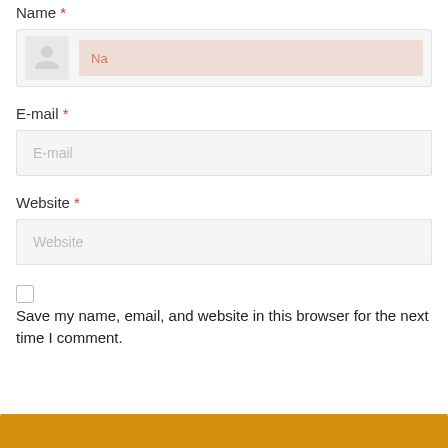Name *
[Figure (screenshot): Name input field with avatar icon placeholder and highlighted text input area]
E-mail *
[Figure (screenshot): E-mail input field with placeholder text 'E-mail']
Website *
[Figure (screenshot): Website input field with placeholder text 'Website']
Save my name, email, and website in this browser for the next time I comment.
[Figure (screenshot): Submit button bar in amber/gold color at bottom of page]